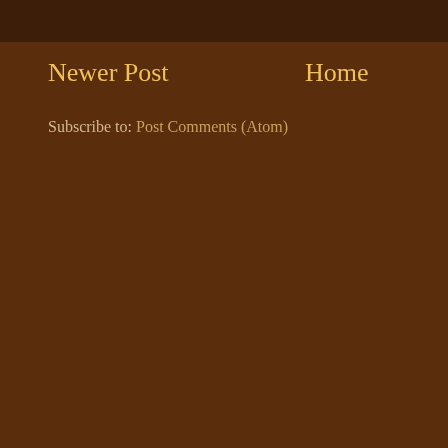Newer Post
Home
Subscribe to: Post Comments (Atom)